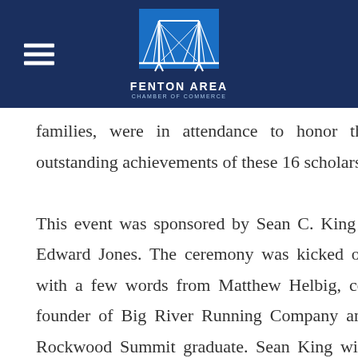[Figure (logo): Fenton Area Chamber of Commerce logo — bridge graphic with text on dark navy blue header bar, hamburger menu icon on left]
families, were in attendance to honor the outstanding achievements of these 16 scholars.

This event was sponsored by Sean C. King – Edward Jones. The ceremony was kicked off with a few words from Matthew Helbig, co-founder of Big River Running Company and Rockwood Summit graduate. Sean King with Edward Jones and Ginny